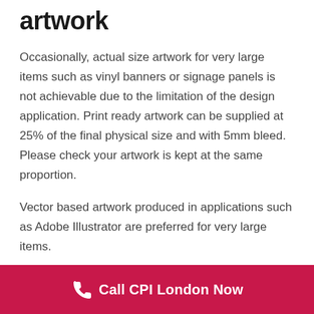artwork
Occasionally, actual size artwork for very large items such as vinyl banners or signage panels is not achievable due to the limitation of the design application. Print ready artwork can be supplied at 25% of the final physical size and with 5mm bleed. Please check your artwork is kept at the same proportion.
Vector based artwork produced in applications such as Adobe Illustrator are preferred for very large items.
Pullup Roller banner Artwork
Call CPI London Now